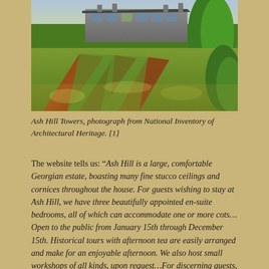[Figure (photo): Aerial/ground-level photograph of Ash Hill Towers, a Georgian estate house visible in the background with large green and autumn-colored hedgerows and fields in the foreground.]
Ash Hill Towers, photograph from National Inventory of Architectural Heritage. [1]
The website tells us: “Ash Hill is a large, comfortable Georgian estate, boasting many fine stucco ceilings and cornices throughout the house. For guests wishing to stay at Ash Hill, we have three beautifully appointed en-suite bedrooms, all of which can accommodate one or more cots…Open to the public from January 15th through December 15th. Historical tours with afternoon tea are easily arranged and make for an enjoyable afternoon. We also host small workshops of all kinds, upon request…For discerning guests, Ash Hill can be